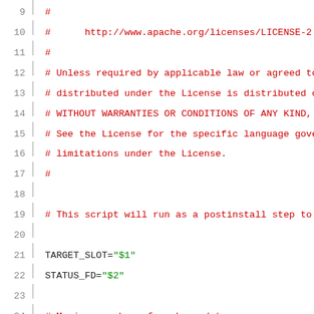Source code listing, lines 9-30, shell script with Apache license header and postinstall logic
9  #
10  #      http://www.apache.org/licenses/LICENSE-2...
11  #
12  # Unless required by applicable law or agreed to...
13  # distributed under the License is distributed...
14  # WITHOUT WARRANTIES OR CONDITIONS OF ANY KIND,...
15  # See the License for the specific language gove...
16  # limitations under the License.
17  #
18  (blank)
19  # This script will run as a postinstall step to...
20  (blank)
21  TARGET_SLOT="$1"
22  STATUS_FD="$2"
23  (blank)
24  # Maximum number of packages/steps.
25  MAXIMUM_PACKAGES=1000
26  (blank)
27  # First ensure the system is booted. This is to...
28  # infinitely loop trying to get a service manage...
29  # mode). b/30797145
30  ROOT_PROPERTY_NAME="dev.bootcomplete"